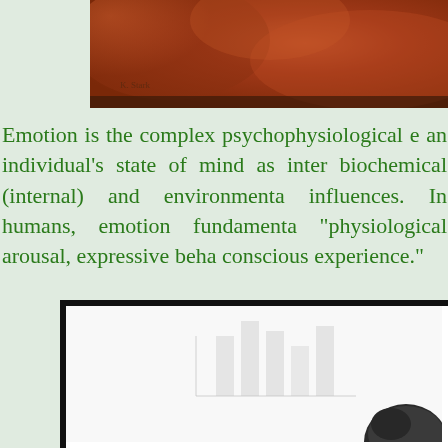[Figure (photo): Top portion of an artwork or painting with reddish-brown/orange tones and a handwritten signature in the lower left area.]
Emotion is the complex psychophysiological experience of an individual's state of mind as interacting with biochemical (internal) and environmental (external) influences. In humans, emotion fundamentally involves "physiological arousal, expressive behaviors, and conscious experience."
[Figure (photo): A framed image showing what appears to be a bar chart or diagram in light gray/white tones, with a person's head (dark hair) visible in the lower right corner.]